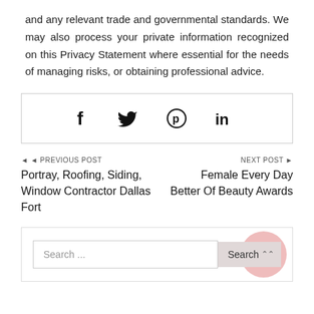and any relevant trade and governmental standards. We may also process your private information recognized on this Privacy Statement where essential for the needs of managing risks, or obtaining professional advice.
[Figure (infographic): Social share buttons box with icons for Facebook (f), Twitter (bird), Pinterest (P circle), and LinkedIn (in)]
◄ PREVIOUS POST
Portray, Roofing, Siding, Window Contractor Dallas Fort
NEXT POST ►
Female Every Day Better Of Beauty Awards
[Figure (screenshot): Search bar with placeholder text 'Search ...' and a Search button with chevron icon on pink circular background]